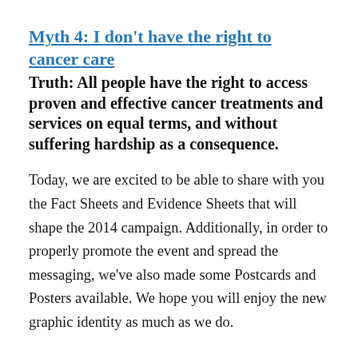Myth 4: I don’t have the right to cancer care
Truth: All people have the right to access proven and effective cancer treatments and services on equal terms, and without suffering hardship as a consequence.
Today, we are excited to be able to share with you the Fact Sheets and Evidence Sheets that will shape the 2014 campaign. Additionally, in order to properly promote the event and spread the messaging, we’ve also made some Postcards and Posters available. We hope you will enjoy the new graphic identity as much as we do.